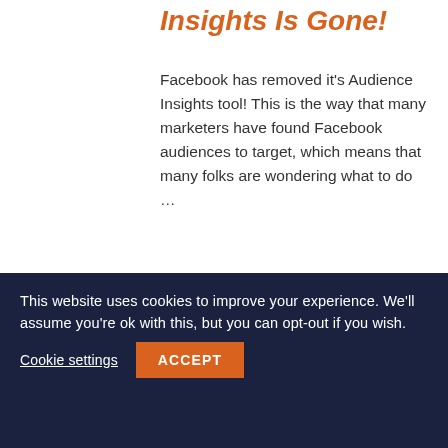Insights Is Gone!
Facebook has removed it's Audience Insights tool! This is the way that many marketers have found Facebook audiences to target, which means that many folks are wondering what to do …
READ MORE →
[Figure (illustration): Cartoon illustration of a robot-like character with circular eyes against a dark purple background, with a red flag shape on the right side.]
This website uses cookies to improve your experience. We'll assume you're ok with this, but you can opt-out if you wish.
Cookie settings   ACCEPT